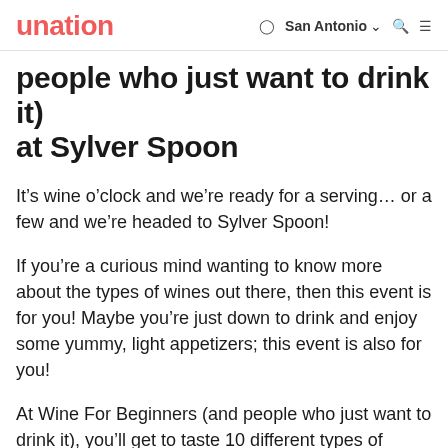unation | San Antonio
people who just want to drink it) at Sylver Spoon
It’s wine o’clock and we’re ready for a serving… or a few and we’re headed to Sylver Spoon!
If you’re a curious mind wanting to know more about the types of wines out there, then this event is for you! Maybe you’re just down to drink and enjoy some yummy, light appetizers; this event is also for you!
At Wine For Beginners (and people who just want to drink it), you’ll get to taste 10 different types of wines and you’ll get the basic wine knowledge in a fun and very relaxed setting.